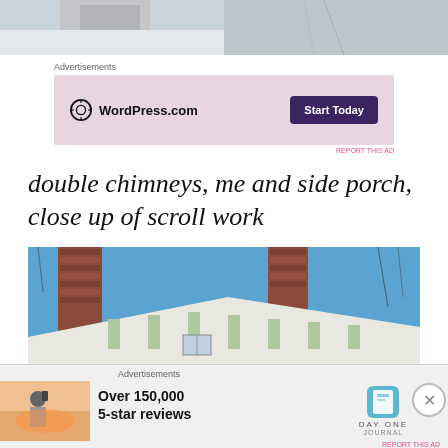[Figure (photo): Two side-by-side winter outdoor photos showing snow on ground]
Advertisements
[Figure (screenshot): WordPress.com advertisement banner with pink background, WordPress logo and 'Start Today' dark purple button]
REPORT THIS AD
double chimneys, me and side porch, close up of scroll work
[Figure (photo): Close-up photo of house roofline showing double chimneys and decorative scroll work against blue sky]
Advertisements
[Figure (screenshot): Day One Journal advertisement with person photographing sunset, 'Over 150,000 5-star reviews' text and Day One Journal logo]
REPORT THIS AD